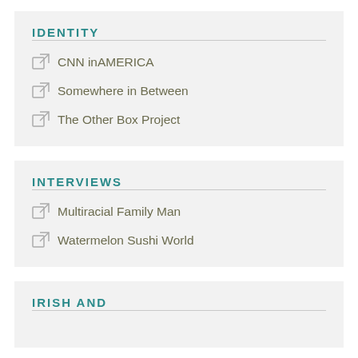IDENTITY
CNN inAMERICA
Somewhere in Between
The Other Box Project
INTERVIEWS
Multiracial Family Man
Watermelon Sushi World
IRISH AND